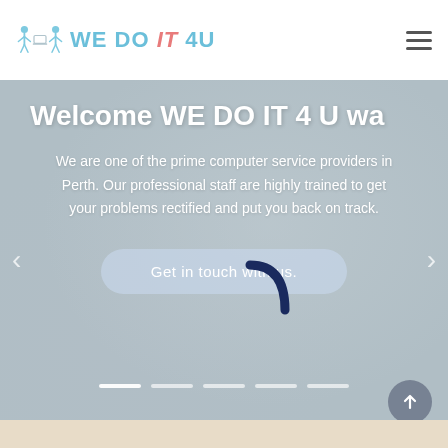WE DO IT 4U — logo and navigation header
Welcome WE DO IT 4 U wa
We are one of the prime computer service providers in Perth. Our professional staff are highly trained to get your problems rectified and put you back on track.
Get in touch with us.